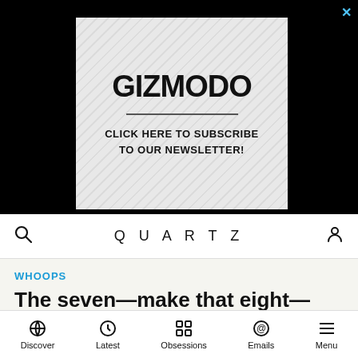[Figure (illustration): Gizmodo advertisement banner with diagonal stripe background pattern, large bold GIZMODO text, horizontal divider line, and text reading CLICK HERE TO SUBSCRIBE TO OUR NEWSLETTER!]
QUARTZ
WHOOPS
The seven—make that eight—most ridiculous statements of Taro Aso,
Discover  Latest  Obsessions  Emails  Menu